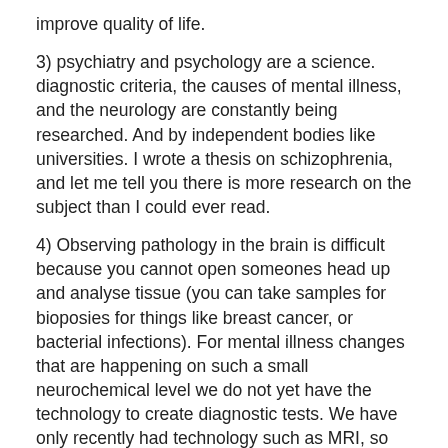improve quality of life.
3) psychiatry and psychology are a science. diagnostic criteria, the causes of mental illness, and the neurology are constantly being researched. And by independent bodies like universities. I wrote a thesis on schizophrenia, and let me tell you there is more research on the subject than I could ever read.
4) Observing pathology in the brain is difficult because you cannot open someones head up and analyse tissue (you can take samples for bioposies for things like breast cancer, or bacterial infections). For mental illness changes that are happening on such a small neurochemical level we do not yet have the technology to create diagnostic tests. We have only recently had technology such as MRI, so the neurology of mental illness is still in its infancy. however huge advances are occuring, possibly quicker than in any other form of medicine.
I could write more but its late. On the whole this